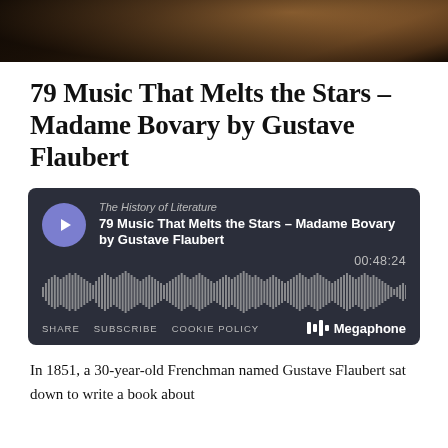[Figure (photo): Partial cropped photo showing a person wearing jewelry/necklace, dark background]
79 Music That Melts the Stars – Madame Bovary by Gustave Flaubert
[Figure (screenshot): Megaphone podcast player widget showing episode '79 Music That Melts the Stars – Madame Bovary by Gustave Flaubert' from The History of Literature, duration 00:48:24, with waveform visualization, SHARE SUBSCRIBE COOKIE POLICY links and Megaphone logo]
In 1851, a 30-year-old Frenchman named Gustave Flaubert sat down to write a book about...